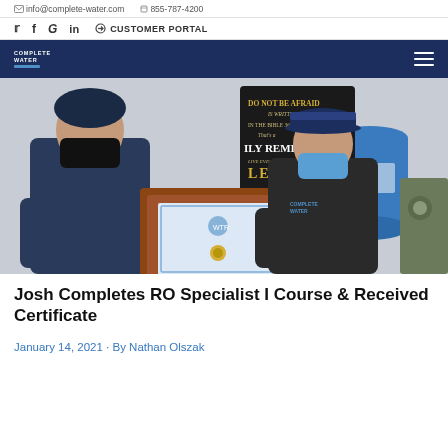info@complete-water.com   855-787-4200
Twitter  Facebook  Google  LinkedIn  CUSTOMER PORTAL
COMPLETE WATER
[Figure (photo): Two men wearing face masks holding a wooden plaque with a certificate. A motivational sign and blue water tank visible in background.]
Josh Completes RO Specialist I Course & Received Certificate
January 14, 2021 · By Nathan Olszak